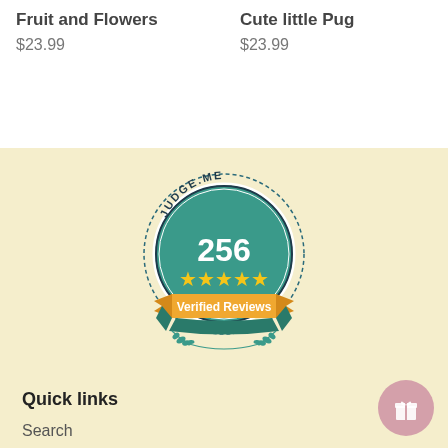Fruit and Flowers
$23.99
Cute little Pug
$23.99
[Figure (logo): Judge.me badge showing 256 five-star verified reviews, teal circular badge with golden stars and orange ribbon banner]
Quick links
Search